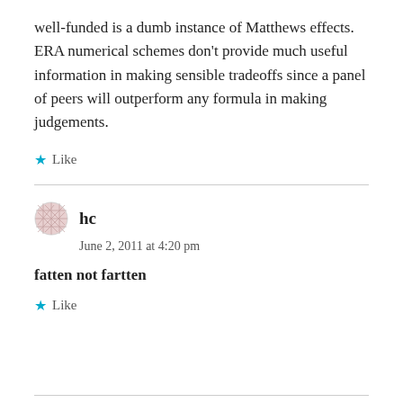well-funded is a dumb instance of Matthews effects. ERA numerical schemes don't provide much useful information in making sensible tradeoffs since a panel of peers will outperform any formula in making judgements.
Like
hc
June 2, 2011 at 4:20 pm
fatten not fartten
Like